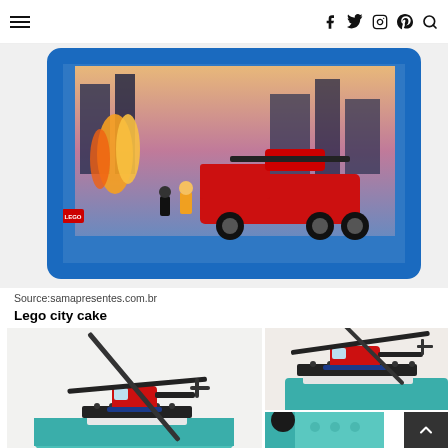☰  f  twitter  instagram  pinterest  search
[Figure (photo): LEGO City fire rescue set box, showing a red fire truck/helicopter scene with city buildings backdrop, blue box border]
Source:samapresentes.com.br
Lego city cake
[Figure (photo): Close-up of a LEGO helicopter model on a teal cake surface - left photo]
[Figure (photo): LEGO helicopter on teal cake from a different angle - top right photo]
[Figure (photo): Partial view of teal cake bottom right - bottom right photo]